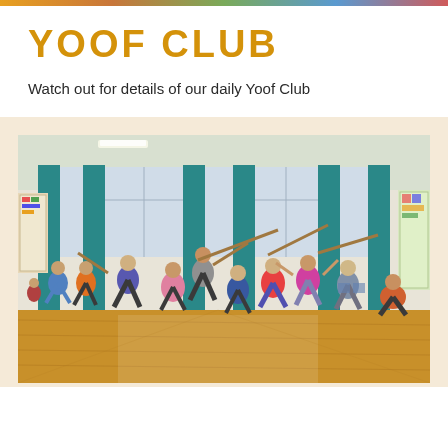YOOF CLUB
Watch out for details of our daily Yoof Club
[Figure (photo): Children and young people in a school hall taking part in an activity, holding sticks and playing a game, with wooden flooring, tall windows with teal curtains, and displays on the walls.]